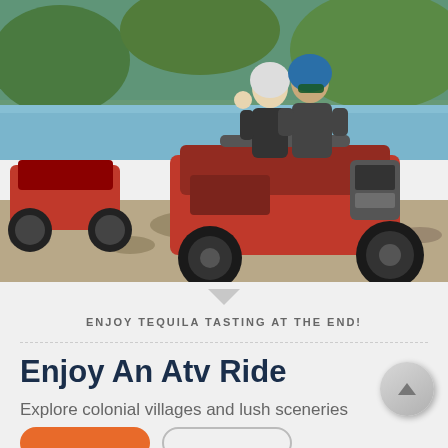[Figure (photo): Two people riding red ATV quad bikes on a rocky riverbank trail with green trees and blue water in the background. One rider wears a white helmet, the other a blue helmet and sunglasses.]
ENJOY TEQUILA TASTING AT THE END!
Enjoy An Atv Ride
Explore colonial villages and lush sceneries